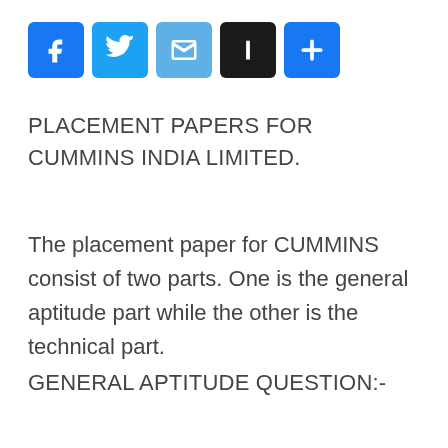[Figure (other): Social sharing buttons: Facebook (blue), Twitter (blue), Email (light blue), Instapaper (black with I), Share/Plus (blue)]
PLACEMENT PAPERS FOR CUMMINS INDIA LIMITED.
The placement paper for CUMMINS consist of two parts. One is the general aptitude part while the other is the technical part.
GENERAL APTITUDE QUESTION:-